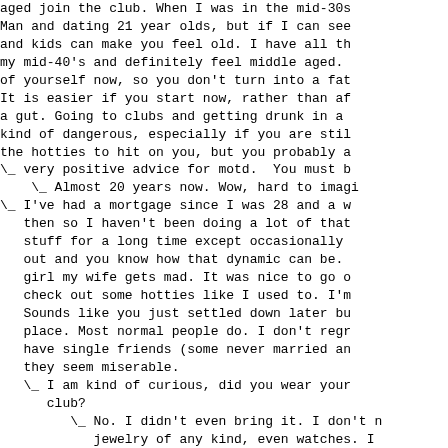aged join the club. When I was in the mid-30s Man and dating 21 year olds, but if I can see and kids can make you feel old. I have all th my mid-40's and definitely feel middle aged. of yourself now, so you don't turn into a fat It is easier if you start now, rather than af a gut. Going to clubs and getting drunk in a kind of dangerous, especially if you are stil the hotties to hit on you, but you probably a \_ very positive advice for motd.  You must b     \_ Almost 20 years now. Wow, hard to imagi \_ I've had a mortgage since I was 28 and a w    then so I haven't been doing a lot of that    stuff for a long time except occasionally     out and you know how that dynamic can be.     girl my wife gets mad. It was nice to go o    check out some hotties like I used to. I'm    Sounds like you just settled down later bu    place. Most normal people do. I don't regr    have single friends (some never married an    they seem miserable.     \_ I am kind of curious, did you wear your       club?         \_ No. I didn't even bring it. I don't n            jewelry of any kind, even watches. I            a watch and maybe cufflinks) to form            have one because it's a tradition.             \_ the pp asked a yes/no question, n                  ass justification on why you don'                  \_ Yeah, but at least he didn't t